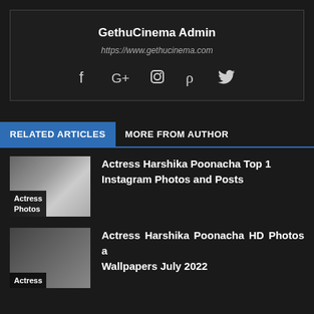GethuCinema Admin
https://www.gethucinema.com
[Figure (infographic): Social media icons: Facebook, Google+, Instagram, Pinterest, Twitter]
RELATED ARTICLES
MORE FROM AUTHOR
[Figure (photo): Thumbnail of Actress Harshika Poonacha with label 'Actress Photos']
Actress Harshika Poonacha Top 1 Instagram Photos and Posts
[Figure (photo): Thumbnail with label 'Actress']
Actress Harshika Poonacha HD Photos a Wallpapers July 2022